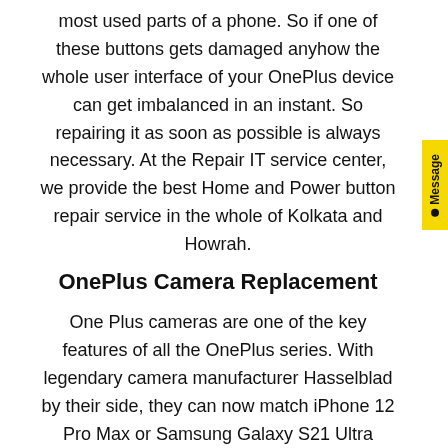most used parts of a phone. So if one of these buttons gets damaged anyhow the whole user interface of your OnePlus device can get imbalanced in an instant. So repairing it as soon as possible is always necessary. At the Repair IT service center, we provide the best Home and Power button repair service in the whole of Kolkata and Howrah.
OnePlus Camera Replacement
One Plus cameras are one of the key features of all the OnePlus series. With legendary camera manufacturer Hasselblad by their side, they can now match iPhone 12 Pro Max or Samsung Galaxy S21 Ultra camera qualities with their One Plus 9 and upper models. So if any of these cameras get damaged somehow it will need a genuine service and repair